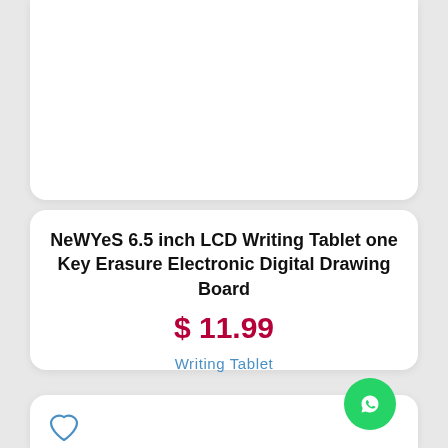[Figure (other): White rounded card (top portion, product image area) — content mostly white/blank visible at bottom of card]
NeWYeS 6.5 inch LCD Writing Tablet one Key Erasure Electronic Digital Drawing Board
$ 11.99
Writing Tablet
[Figure (other): White rounded card (bottom) with a heart/favorite icon in the top-left corner and a WhatsApp contact button in the bottom-right corner]